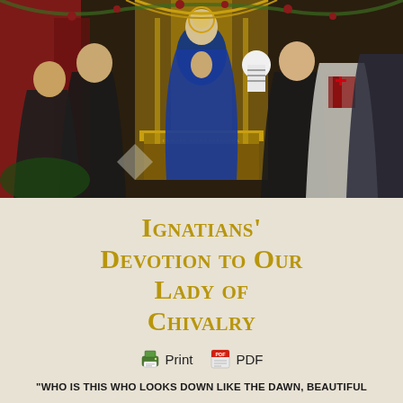[Figure (illustration): Medieval religious painting showing the Virgin Mary enthroned with figures in religious and knightly garb surrounding her, including monks in dark robes and knights in white mantles with crosses, set against an ornate golden backdrop]
Ignatians' Devotion to Our Lady of Chivalry
[Figure (infographic): Print and PDF buttons with icons]
"Who is this who looks down like the dawn, beautiful